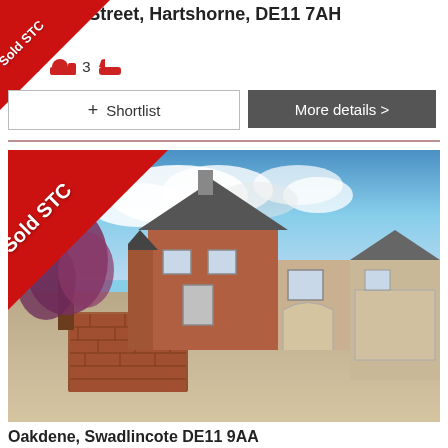w' Brook Street, Hartshorne, DE11 7AH
000
3  3
+ Shortlist
More details >
[Figure (photo): Exterior photo of a detached red brick house with a large driveway, a purple-leaved tree on the left, and a garage on the right, under a blue sky with clouds. A red 'Sold STC' badge is in the top-left corner.]
Oakdene, Swadlincote DE11 9AA